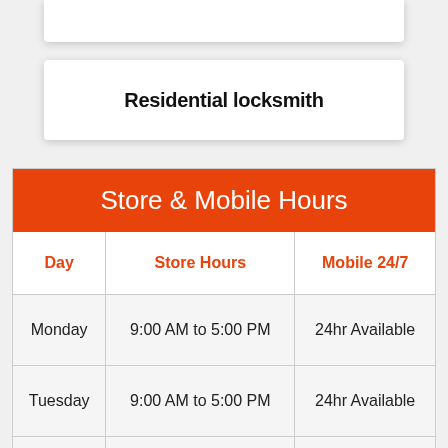Residential locksmith
| Day | Store Hours | Mobile 24/7 |
| --- | --- | --- |
| Monday | 9:00 AM to 5:00 PM | 24hr Available |
| Tuesday | 9:00 AM to 5:00 PM | 24hr Available |